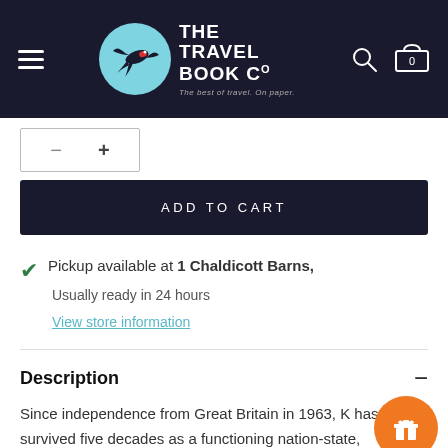[Figure (logo): The Travel Book Co logo: circular light blue badge with swallow bird illustration, next to white text reading THE TRAVEL BOOK Co with tagline The best of travel. On paper.]
ADD TO CART
Pickup available at 1 Chaldicott Barns,
Usually ready in 24 hours
View store information
Description
Since independence from Great Britain in 1963, K has survived five decades as a functioning nation-state,